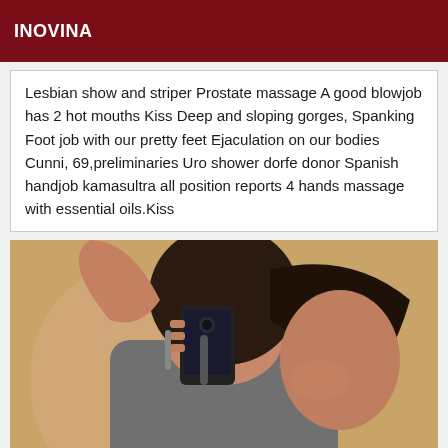INOVINA
Lesbian show and striper Prostate massage A good blowjob has 2 hot mouths Kiss Deep and sloping gorges, Spanking Foot job with our pretty feet Ejaculation on our bodies Cunni, 69,preliminaries Uro shower dorfe donor Spanish handjob kamasultra all position reports 4 hands massage with essential oils.Kiss
[Figure (photo): Person taking a mirror selfie holding a smartphone, wearing a grey top, against a yellow/tan wall background.]